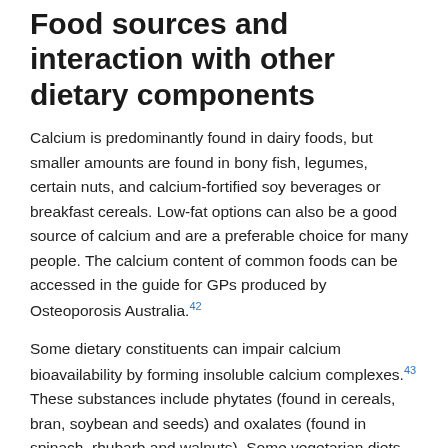Food sources and interaction with other dietary components
Calcium is predominantly found in dairy foods, but smaller amounts are found in bony fish, legumes, certain nuts, and calcium-fortified soy beverages or breakfast cereals. Low-fat options can also be a good source of calcium and are a preferable choice for many people. The calcium content of common foods can be accessed in the guide for GPs produced by Osteoporosis Australia.42
Some dietary constituents can impair calcium bioavailability by forming insoluble calcium complexes.43 These substances include phytates (found in cereals, bran, soybean and seeds) and oxalates (found in spinach, rhubarb and walnuts). Some vegetarian diets may therefore adversely affect calcium balance, particularly if the calcium content is low, because of